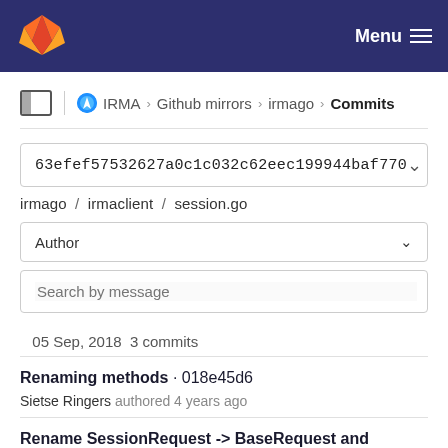GitLab navigation bar with logo and Menu button
IRMA › Github mirrors › irmago › Commits
63efef57532627a0c1c032c62eec199944baf770
irmago / irmaclient / session.go
Author
Search by message
05 Sep, 2018 3 commits
Renaming methods · 018e45d6
Sietse Ringers authored 4 years ago
Rename SessionRequest -> BaseRequest and IrmaSession -> SessionRequest · 02661ae6
Sietse Ringers authored 4 years ago